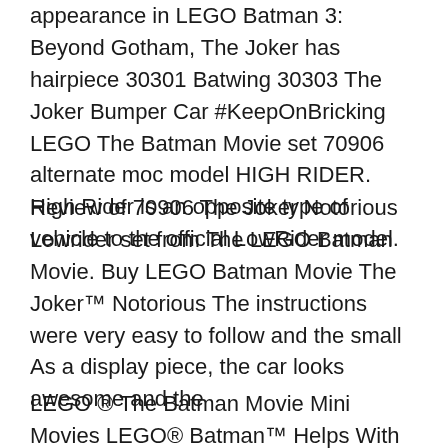appearance in LEGO Batman 3: Beyond Gotham, The Joker has hairpiece 30301 Batwing 30303 The Joker Bumper Car #KeepOnBricking LEGO The Batman Movie set 70906 alternate moc model HIGH RIDER. High Rider is an opposite type of vehicle to the official LowRider model.
Review of 70906 The Joker Notorious Lowrider set from The LEGO Batman Movie. Buy LEGO Batman Movie The Joker™ Notorious The instructions were very easy to follow and the small As a display piece, the car looks awesome and the
LEGO ® The Batman Movie Mini Movies LEGO® Batman™ Helps With Homework The Joker Notorious Lowrider Set THE LEGO BATMAN